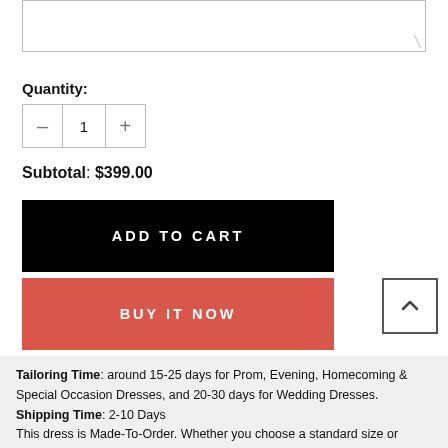Quantity:
1
Subtotal: $399.00
ADD TO CART
BUY IT NOW
Tailoring Time: around 15-25 days for Prom, Evening, Homecoming & Special Occasion Dresses, and 20-30 days for Wedding Dresses. Shipping Time: 2-10 Days This dress is Made-To-Order. Whether you choose a standard size or custom measurements, our tailors craft each dress to order.